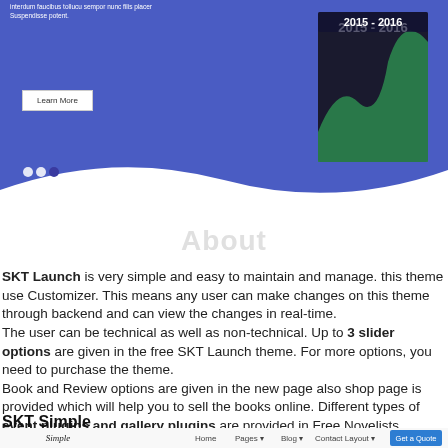[Figure (screenshot): Screenshot of a website theme with blue banner, lorem ipsum text, Learn More button, slider dots, and a book cover showing 2015-2016]
SKT Launch is very simple and easy to maintain and manage. this theme use Customizer. This means any user can make changes on this theme through backend and can view the changes in real-time.
The user can be technical as well as non-technical. Up to 3 slider options are given in the free SKT Launch theme. For more options, you need to purchase the theme.
Book and Review options are given in the new page also shop page is provided which will help you to sell the books online. Different types of event plugins and gallery plugins are provided in Free Novelists WordPress Themes.
SKT Simple
[Figure (screenshot): Bottom navigation bar of SKT Simple theme showing: Simple logo, Home, Pages, Blog, Contact Layout, and Get a Quote button]